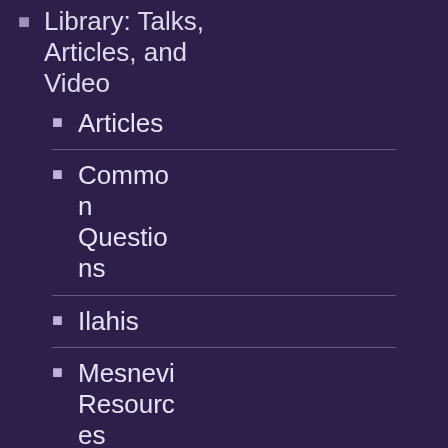Library: Talks, Articles, and Video
Articles
Common Questions
Ilahis
Mesnevi Resources
Podcasts
200